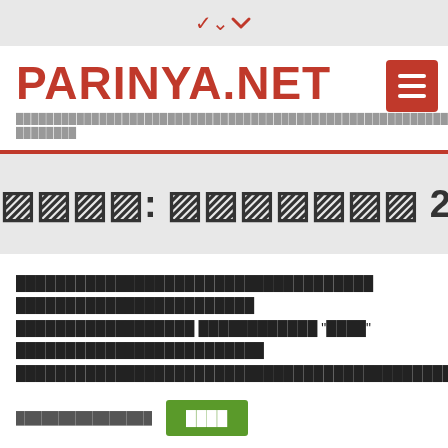▼
PARINYA.NET
[Thai subtitle text — decorative/navigation description]
หมวด: กันยายน 2018
[Thai article excerpt text with quoted word]
[Thai date link] [อ่านต่อ button]